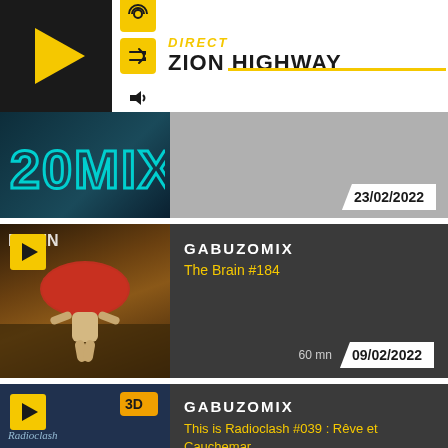DIRECT ZION HIGHWAY
[Figure (screenshot): 20MIX show thumbnail with teal/blue text on dark background, date 23/02/2022]
[Figure (photo): GABUZOMIX - The Brain #184 thumbnail showing a mushroom figure character in a forest scene, date 09/02/2022, 60 mn]
[Figure (photo): GABUZOMIX - This is Radioclash #039 : Rêve et Cauchemar thumbnail showing a fantasy scene, date 26/01/2022, 60 mn]